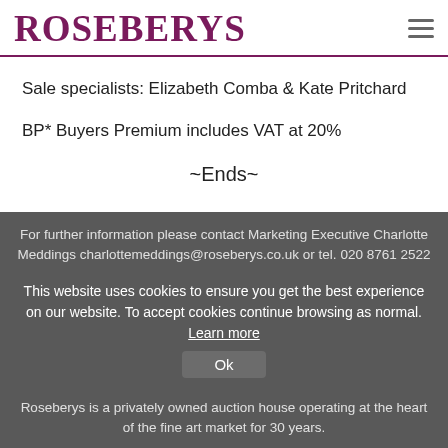Roseberys
Sale specialists: Elizabeth Comba & Kate Pritchard
BP* Buyers Premium includes VAT at 20%
~Ends~
For further information please contact Marketing Executive Charlotte Meddings charlottemeddings@roseberys.co.uk or tel. 020 8761 2522
This website uses cookies to ensure you get the best experience on our website. To accept cookies continue browsing as normal. Learn more
Ok
Roseberys is a privately owned auction house operating at the heart of the fine art market for 30 years.